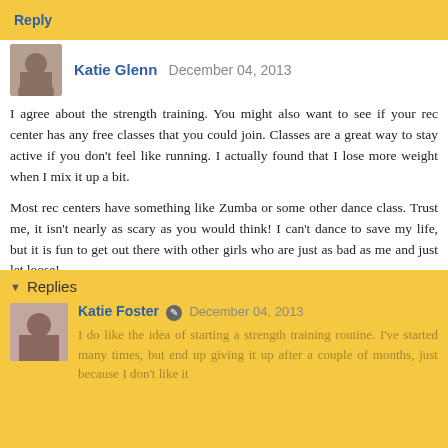Reply
Katie Glenn  December 04, 2013
I agree about the strength training. You might also want to see if your rec center has any free classes that you could join. Classes are a great way to stay active if you don't feel like running. I actually found that I lose more weight when I mix it up a bit.
Most rec centers have something like Zumba or some other dance class. Trust me, it isn't nearly as scary as you would think! I can't dance to save my life, but it is fun to get out there with other girls who are just as bad as me and just let loose!
Reply
Replies
Katie Foster  December 04, 2013
I do like the idea of starting a strength training routine. I've started many times, but end up giving it up after a couple of months, just because I don't like it